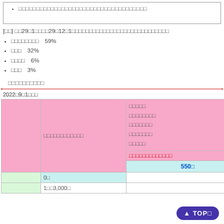□□□□□□□□□□□□□□□□□□□□□□□□□□□□□□□□□□□□
[□□] □□29□1□□□□29□12□1□□□□□□□□□□□□□□□□□□□□□□□□□□□□
□□□□□□□□　59%
□□□　32%
□□□□　6%
□□□　3%
□□□□□□□□□□
2022□9□1□□□
|  | □□□□□□□□□□□□ | □□□□□
□□□□□□□□
□□□□□□□
□□□□□□□
□□□□□

□□□□□□□□□□□□□ |
|  | 0□ | 550□ |
|  | 1□□3,000□ |  |